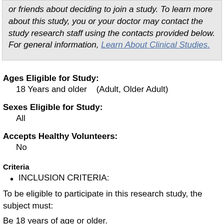or friends about deciding to join a study. To learn more about this study, you or your doctor may contact the study research staff using the contacts provided below. For general information, Learn About Clinical Studies.
Ages Eligible for Study:
18 Years and older   (Adult, Older Adult)
Sexes Eligible for Study:
All
Accepts Healthy Volunteers:
No
Criteria
INCLUSION CRITERIA:
To be eligible to participate in this research study, the subject must:
Be 18 years of age or older.